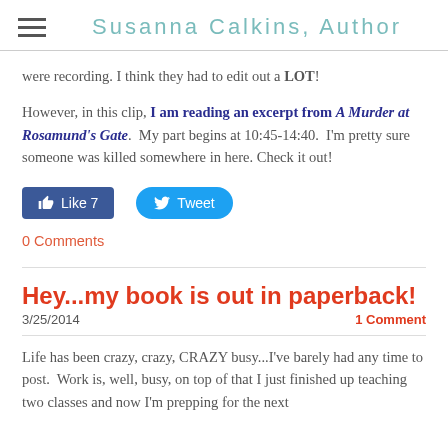Susanna Calkins, Author
were recording. I think they had to edit out a LOT!
However, in this clip, I am reading an excerpt from A Murder at Rosamund's Gate.  My part begins at 10:45-14:40.  I'm pretty sure someone was killed somewhere in here. Check it out!
[Figure (other): Facebook Like button (Like 7) and Twitter Tweet button]
0 Comments
Hey...my book is out in paperback!
3/25/2014   1 Comment
Life has been crazy, crazy, CRAZY busy...I've barely had any time to post.  Work is, well, busy, on top of that I just finished up teaching two classes and now I'm prepping for the next